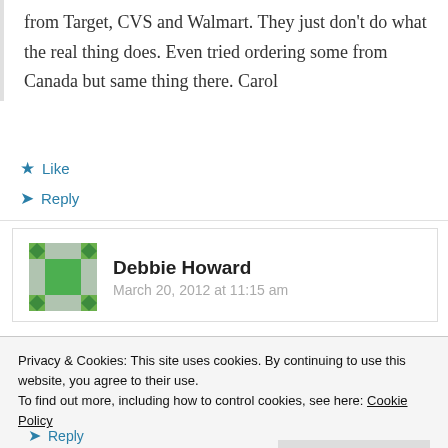from Target, CVS and Walmart. They just don't do what the real thing does. Even tried ordering some from Canada but same thing there. Carol
Like
Reply
Debbie Howard
March 20, 2012 at 11:15 am
Privacy & Cookies: This site uses cookies. By continuing to use this website, you agree to their use. To find out more, including how to control cookies, see here: Cookie Policy
Close and accept
Reply